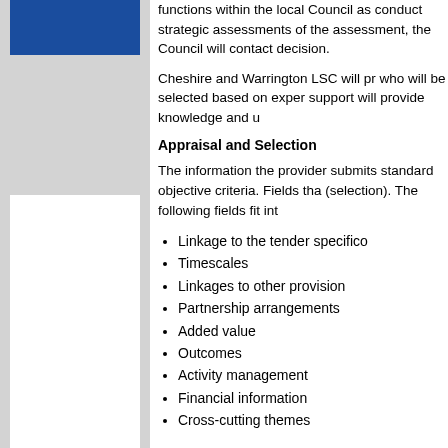functions within the local Council as conduct strategic assessments of the assessment, the Council will contact decision.
Cheshire and Warrington LSC will pr who will be selected based on exper support will provide knowledge and u
Appraisal and Selection
The information the provider submits standard objective criteria. Fields tha (selection). The following fields fit int
Linkage to the tender specifico
Timescales
Linkages to other provision
Partnership arrangements
Added value
Outcomes
Activity management
Financial information
Cross-cutting themes